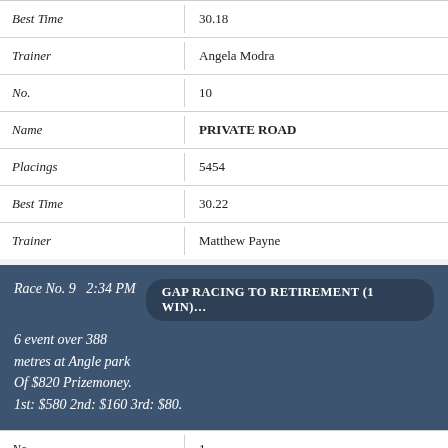| Field | Value |
| --- | --- |
| Best Time | 30.18 |
| Trainer | Angela Modra |
| No. | 10 |
| Name | PRIVATE ROAD |
| Placings | 5454 |
| Best Time | 30.22 |
| Trainer | Matthew Payne |
Race No. 9   2:34 PM   GAP RACING TO RETIREMENT (1 WIN)…
6 event over 388 metres at Angle park Of $820 Prizemoney. 1st: $580 2nd: $160 3rd: $80.
| Field | Value |
| --- | --- |
| No. | 1 |
| Name | HOT ARABINA |
| Placings | 41 |